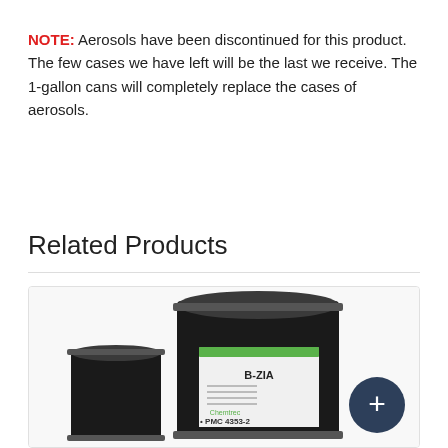NOTE: Aerosols have been discontinued for this product. The few cases we have left will be the last we receive. The 1-gallon cans will completely replace the cases of aerosols.
Related Products
[Figure (photo): Product photo showing two black metal drums/pails of B-ZIA (PMC 4353-2), one large drum and one smaller pail, with a green and white label. A dark blue circle with a plus sign appears in the lower right corner.]